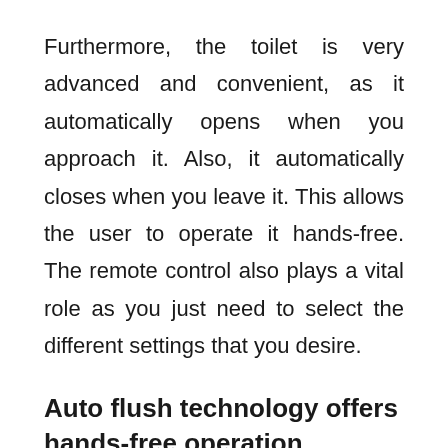Furthermore, the toilet is very advanced and convenient, as it automatically opens when you approach it. Also, it automatically closes when you leave it. This allows the user to operate it hands-free. The remote control also plays a vital role as you just need to select the different settings that you desire.
Auto flush technology offers hands-free operation
The moment you stand up from the toilet, it will automatically flush without you doing anything. Of course, unless there is a power outage and